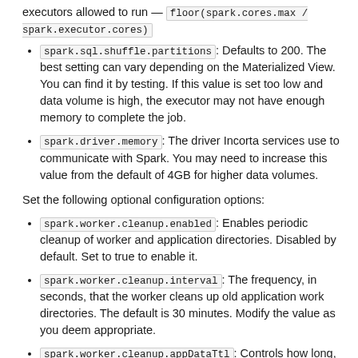executors allowed to run — floor(spark.cores.max / spark.executor.cores)
spark.sql.shuffle.partitions: Defaults to 200. The best setting can vary depending on the Materialized View. You can find it by testing. If this value is set too low and data volume is high, the executor may not have enough memory to complete the job.
spark.driver.memory: The driver Incorta services use to communicate with Spark. You may need to increase this value from the default of 4GB for higher data volumes.
Set the following optional configuration options:
spark.worker.cleanup.enabled: Enables periodic cleanup of worker and application directories. Disabled by default. Set to true to enable it.
spark.worker.cleanup.interval: The frequency, in seconds, that the worker cleans up old application work directories. The default is 30 minutes. Modify the value as you deem appropriate.
spark.worker.cleanup.appDataTtl: Controls how long, in seconds, to retain application work directories. The